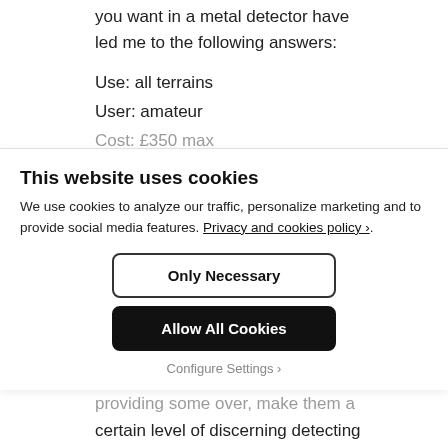you want in a metal detector have led me to the following answers:
Use: all terrains
User: amateur
Cost: £350 max
This website uses cookies
We use cookies to analyze our traffic, personalize marketing and to provide social media features. Privacy and cookies policy ›.
Only Necessary
Allow All Cookies
Configure Settings ›
providing some over, make them a certain level of discerning detecting